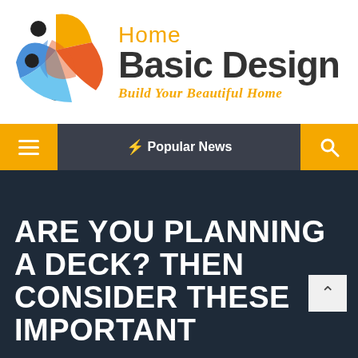[Figure (logo): Home Basic Design logo with colorful circular human figures icon and text 'Home Basic Design - Build Your Beautiful Home']
☰  ⚡ Popular News  🔍
ARE YOU PLANNING A DECK? THEN CONSIDER THESE IMPORTANT